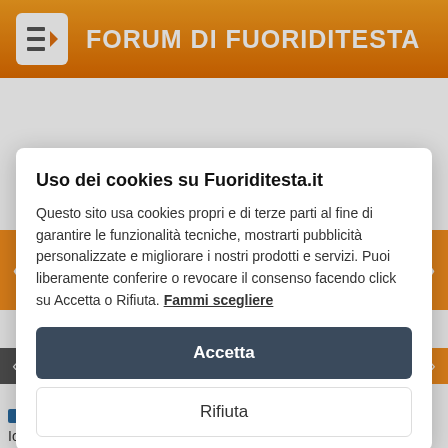FORUM DI FUORIDITESTA
Uso dei cookies su Fuoriditesta.it
Questo sito usa cookies propri e di terze parti al fine di garantire le funzionalità tecniche, mostrarti pubblicità personalizzate e migliorare i nostri prodotti e servizi. Puoi liberamente conferire o revocare il consenso facendo click su Accetta o Rifiuta. Fammi scegliere
Accetta
Rifiuta
velvet underground • venus in furs
Io so, sono matta, ma è stupenda.